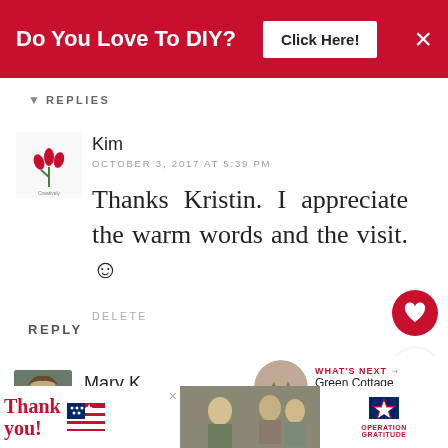[Figure (screenshot): Red advertisement banner: 'Do You Love To DIY?' with 'Click Here!' button and X close button]
▾  REPLIES
[Figure (logo): Kim's avatar/logo with red tulips graphic]
Kim
OCTOBER 3, 2017 AT 5:39 PM
Thanks Kristin. I appreciate the warm words and the visit. ☺
DELETE
REPLY
[Figure (screenshot): What's next box: image of cottage pottery with title 'Green Cottage Style Living...']
[Figure (photo): Mary K.'s avatar photo - woman with short hair]
Mary K.
OCTOBER 3, 2017 AT 3:30 PM
[Figure (screenshot): Bottom advertisement: 'Thank you!' with Operation Gratitude logo and military imagery]